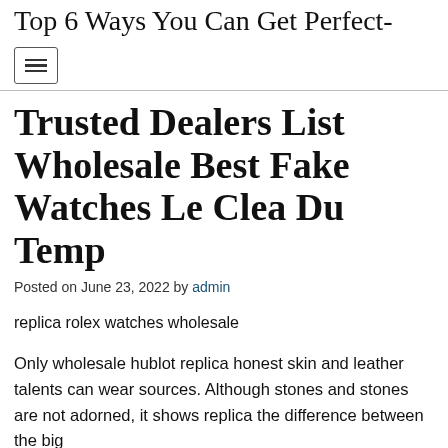Top 6 Ways You Can Get Perfect-…
Trusted Dealers List Wholesale Best Fake Watches Le Clea Du Temp
Posted on June 23, 2022 by admin
replica rolex watches wholesale
Only wholesale hublot replica honest skin and leather talents can wear sources. Although stones and stones are not adorned, it shows replica the difference between the big